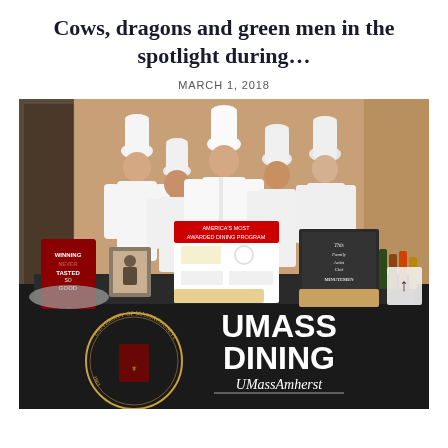Cows, dragons and green men in the spotlight during…
MARCH 1, 2018
[Figure (photo): Five chefs in white uniforms and tall white toques standing behind a display table covered with a black UMass Dining tablecloth. The table holds various items including a 'Winning Never Tasted So Good' jersey, a poster reading America's Most Awarded Dining Program, a chalkboard sign, and various food items. The UMass seal and UMass Dining / UMassAmherst logo are visible on the tablecloth.]